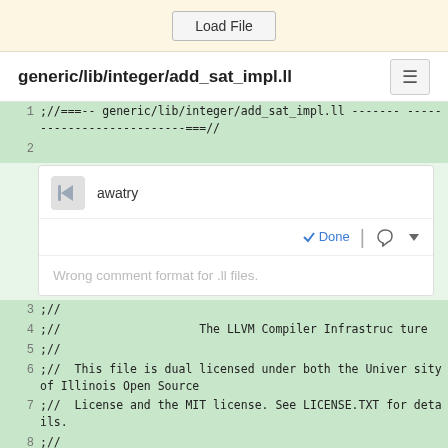[Figure (screenshot): Load File button in a beige/cream toolbar at the top of the page]
generic/lib/integer/add_sat_impl.ll
[Figure (screenshot): Code viewer with highlighted lines showing LLVM IR file header comment, a code review comment box with user 'awatry' saying 'Wrong comment format for .ll files.' and Done/reply/dropdown actions, followed by more highlighted code lines 3-9 showing LLVM license header.]